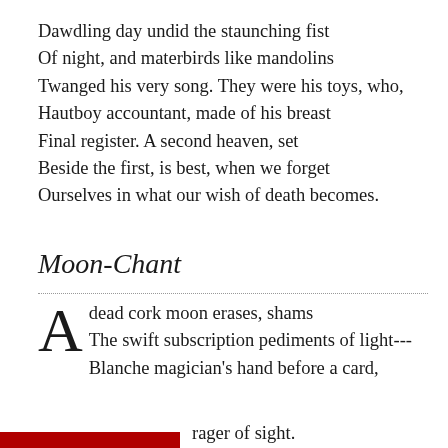Dawdling day undid the staunching fist
Of night, and materbirds like mandolins
Twanged his very song. They were his toys, who,
Hautboy accountant, made of his breast
Final register. A second heaven, set
Beside the first, is best, when we forget
Ourselves in what our wish of death becomes.
Moon-Chant
A   dead cork moon erases, shams
    The swift subscription pediments of light---
Blanche magician's hand before a card,
[red bar] rager of sight.